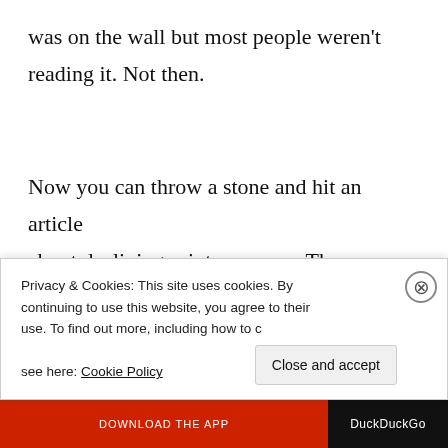was on the wall but most people weren't reading it. Not then.
Now you can throw a stone and hit an article about declining print revenues. These are usually written with a heavy death-of-civilisation subtext.
At least that's the narrative. I believe...
Privacy & Cookies: This site uses cookies. By continuing to use this website, you agree to their use. To find out more, including how to control cookies, see here: Cookie Policy
Close and accept